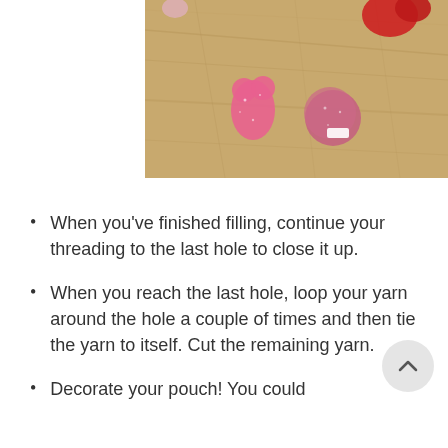[Figure (photo): Overhead photo of sugary candy pieces (pink gummy bears, red candy, and a purple/pink round candy with a small label) scattered on a wooden surface.]
When you've finished filling, continue your threading to the last hole to close it up.
When you reach the last hole, loop your yarn around the hole a couple of times and then tie the yarn to itself. Cut the remaining yarn.
Decorate your pouch! You could